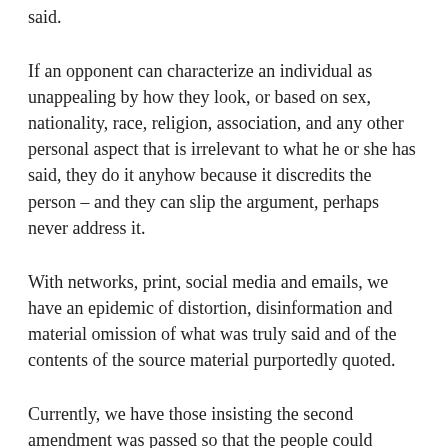said.
If an opponent can characterize an individual as unappealing by how they look, or based on sex, nationality, race, religion, association, and any other personal aspect that is irrelevant to what he or she has said, they do it anyhow because it discredits the person – and they can slip the argument, perhaps never address it.
With networks, print, social media and emails, we have an epidemic of distortion, disinformation and material omission of what was truly said and of the contents of the source material purportedly quoted.
Currently, we have those insisting the second amendment was passed so that the people could overthrow their government with hand guns, rather than so that our fledging government could have a militia to protect it.  The Federalists were concerned about revolting revolutionary troops in